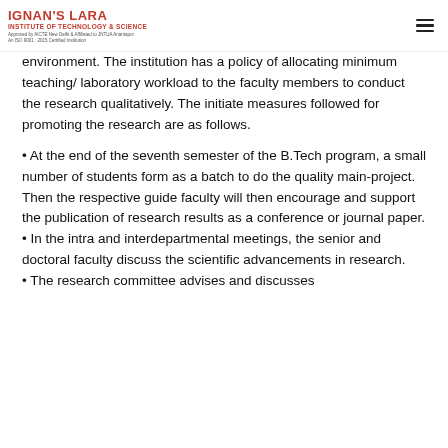IGNAN'S LARA INSTITUTE OF TECHNOLOGY & SCIENCE
environment. The institution has a policy of allocating minimum teaching/ laboratory workload to the faculty members to conduct the research qualitatively. The initiate measures followed for promoting the research are as follows.
At the end of the seventh semester of the B.Tech program, a small number of students form as a batch to do the quality main-project. Then the respective guide faculty will then encourage and support the publication of research results as a conference or journal paper.
In the intra and interdepartmental meetings, the senior and doctoral faculty discuss the scientific advancements in research.
The research committee advises and discusses...